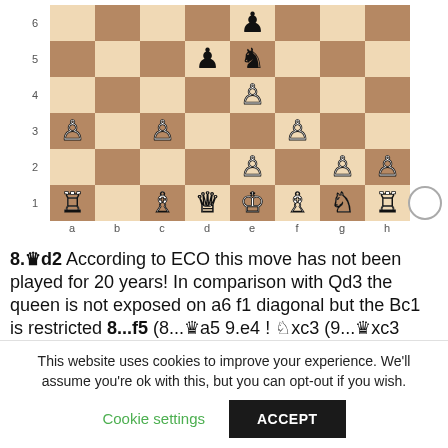[Figure (other): Chess board diagram showing a position with rank labels 1-6 on the left, file labels a-h on the bottom. Various white and black pieces are positioned on the board. A white circle (move indicator) is shown to the right of the board.]
8.Qd2 According to ECO this move has not been played for 20 years! In comparison with Qd3 the queen is not exposed on a6 f1 diagonal but the Bc1 is restricted 8...f5 (8...Qa5 9.e4 ! Nxc3 (9...Qxc3 10.Rb1 Qxd2+ 11.Bxd2 Nc7 12.dxc5 Nd7 13.Bb5 White is slightly better) 10.Bb2 cxd4 11.Ne2 White regains one pawn and gets an attack 11...e5 12.Nxc3 dxc3
This website uses cookies to improve your experience. We'll assume you're ok with this, but you can opt-out if you wish.
Cookie settings  ACCEPT